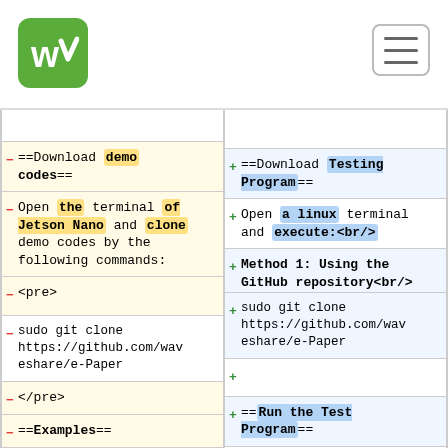[Figure (logo): Waveshare green logo with WS letters]
[Figure (other): Hamburger menu icon]
==Download demo codes==
==Download Testing Program==
Open the terminal of Jetson Nano and clone demo codes by the following commands:
Open a linux terminal and execute:<br/>
<pre>
Method 1: Using the GitHub repository<br/>
sudo git clone https://github.com/waveshare/e-Paper
sudo git clone https://github.com/waveshare/e-Paper
</pre>
==Examples==
==Run the Test Program==